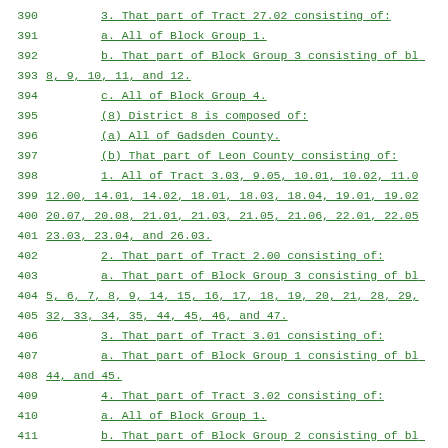390    3.  That part of Tract 27.02 consisting of:
391    a.  All of Block Group 1.
392    b.  That part of Block Group 3 consisting of blo
393 8, 9, 10, 11, and 12.
394    c.  All of Block Group 4.
395    (8)  District 8 is composed of:
396    (a)  All of Gadsden County.
397    (b)  That part of Leon County consisting of:
398    1.  All of Tract 3.03, 9.05, 10.01, 10.02, 11.0
399 12.00, 14.01, 14.02, 18.01, 18.03, 18.04, 19.01, 19.02
400 20.07, 20.08, 21.01, 21.03, 21.05, 21.06, 22.01, 22.05
401 23.03, 23.04, and 26.03.
402    2.  That part of Tract 2.00 consisting of:
403    a.  That part of Block Group 3 consisting of blo
404 5, 6, 7, 8, 9, 14, 15, 16, 17, 18, 19, 20, 21, 28, 29,
405 32, 33, 34, 35, 44, 45, 46, and 47.
406    3.  That part of Tract 3.01 consisting of:
407    a.  That part of Block Group 1 consisting of blo
408 44, and 45.
409    4.  That part of Tract 3.02 consisting of:
410    a.  All of Block Group 1.
411    b.  That part of Block Group 2 consisting of blo
412 3, and 4.
413    5.  That part of Tract 4.00 consisting of:
414    a.  That part of Block Group 1 consisting of bl